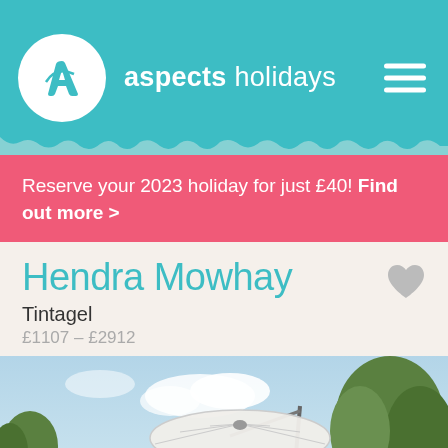aspects holidays
Reserve your 2023 holiday for just £40! Find out more >
Hendra Mowhay
Tintagel
£1107 – £2912
[Figure (photo): Outdoor garden photo showing a large white cantilever parasol/umbrella against a blue sky with clouds, green trees in background, and rooftops of buildings visible. Navigation arrows on left and right sides of image.]